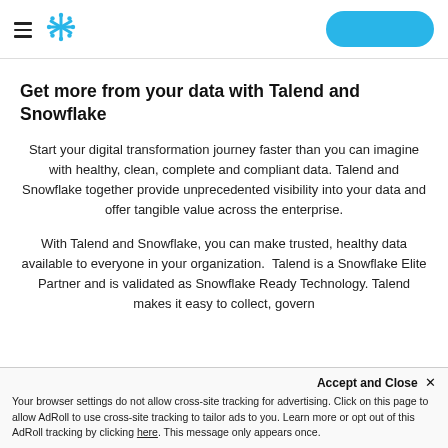Snowflake logo and navigation header with hamburger menu and CTA button
Get more from your data with Talend and Snowflake
Start your digital transformation journey faster than you can imagine with healthy, clean, complete and compliant data. Talend and Snowflake together provide unprecedented visibility into your data and offer tangible value across the enterprise.
With Talend and Snowflake, you can make trusted, healthy data available to everyone in your organization.  Talend is a Snowflake Elite Partner and is validated as Snowflake Ready Technology. Talend makes it easy to collect, govern
Accept and Close ×
Your browser settings do not allow cross-site tracking for advertising. Click on this page to allow AdRoll to use cross-site tracking to tailor ads to you. Learn more or opt out of this AdRoll tracking by clicking here. This message only appears once.